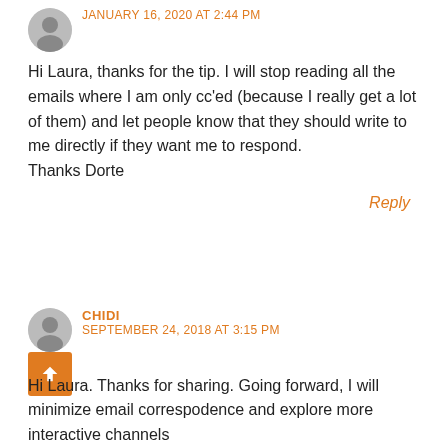JANUARY 16, 2020 AT 2:44 PM
Hi Laura, thanks for the tip. I will stop reading all the emails where I am only cc'ed (because I really get a lot of them) and let people know that they should write to me directly if they want me to respond.
Thanks Dorte
Reply
CHIDI
SEPTEMBER 24, 2018 AT 3:15 PM
Hi Laura. Thanks for sharing. Going forward, I will minimize email correspodence and explore more interactive channels